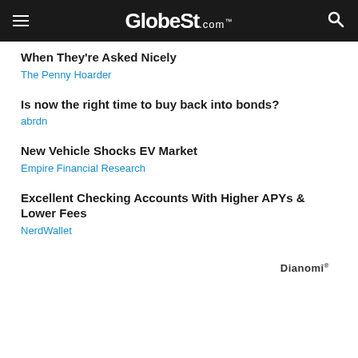GlobeSt.com
When They're Asked Nicely
The Penny Hoarder
Is now the right time to buy back into bonds?
abrdn
New Vehicle Shocks EV Market
Empire Financial Research
Excellent Checking Accounts With Higher APYs & Lower Fees
NerdWallet
Dianomi